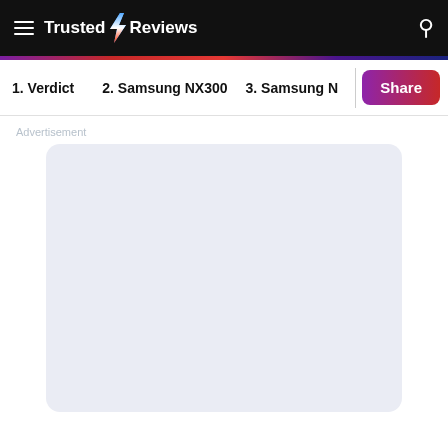Trusted Reviews
1. Verdict   2. Samsung NX300   3. Samsung N
Share
Advertisement